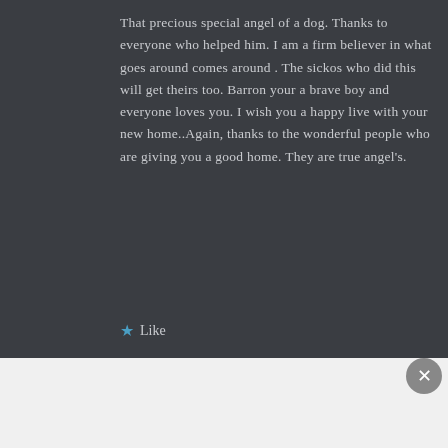That precious special angel of a dog. Thanks to everyone who helped him. I am a firm believer in what goes around comes around . The sickos who did this will get theirs too. Barron your a brave boy and everyone loves you. I wish you a happy live with your new home..Again, thanks to the wonderful people who are giving you a good home. They are true angel's.
★ Like
Advertisements
Build a writing habit. Post on the go. GET THE APP